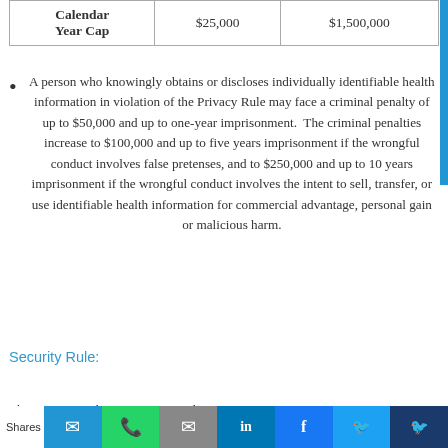| Calendar Year Cap | $25,000 | $1,500,000 |
| --- | --- | --- |
A person who knowingly obtains or discloses individually identifiable health information in violation of the Privacy Rule may face a criminal penalty of up to $50,000 and up to one-year imprisonment. The criminal penalties increase to $100,000 and up to five years imprisonment if the wrongful conduct involves false pretenses, and to $250,000 and up to 10 years imprisonment if the wrongful conduct involves the intent to sell, transfer, or use identifiable health information for commercial advantage, personal gain or malicious harm.
Security Rule:
The Security Rule requires covered entities to maintain reas...